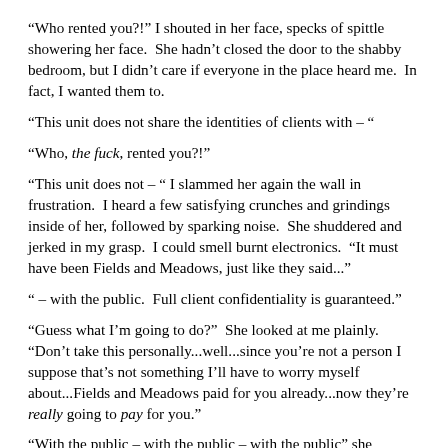“Who rented you?!” I shouted in her face, specks of spittle showering her face.  She hadn’t closed the door to the shabby bedroom, but I didn’t care if everyone in the place heard me.  In fact, I wanted them to.
“This unit does not share the identities of clients with – “
“Who, the fuck, rented you?!”
“This unit does not – “ I slammed her again the wall in frustration.  I heard a few satisfying crunches and grindings inside of her, followed by sparking noise.  She shuddered and jerked in my grasp.  I could smell burnt electronics.  “It must have been Fields and Meadows, just like they said...”
“ – with the public.  Full client confidentiality is guaranteed.”
“Guess what I’m going to do?”  She looked at me plainly.  “Don’t take this personally...well...since you’re not a person I suppose that’s not something I’ll have to worry myself about...Fields and Meadows paid for you already...now they’re really going to pay for you.”
“With the public – with the public – with the public” she stuttered.  Evidently, I had already done some damage.  I looked at her